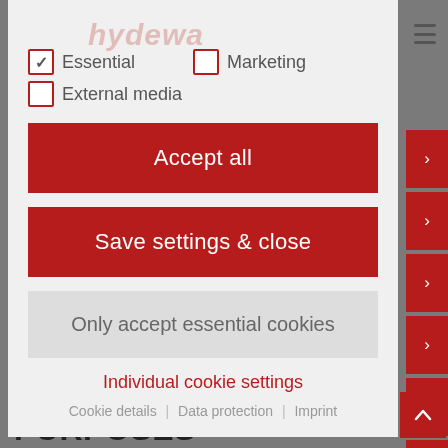[Figure (screenshot): Cookie consent modal dialog with checkboxes for Essential, Marketing, External media. Buttons: Accept all, Save settings & close, Only accept essential cookies. Links: Individual cookie settings, Cookie details, Data protection, Imprint. Background shows a website with red sidebar buttons and sandwich panels heading.]
✓ Essential   ☐ Marketing
☐ External media
Accept all
Save settings & close
Only accept essential cookies
Individual cookie settings
Cookie details | Data protection | Imprint
SANDWICH PANELS FOR DIFFERENT PURPOSES